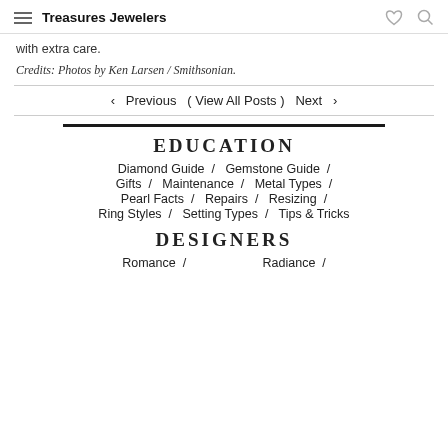Treasures Jewelers
with extra care.
Credits: Photos by Ken Larsen / Smithsonian.
◀  Previous  ( View All Posts )  Next  ▶
EDUCATION
Diamond Guide  /  Gemstone Guide  /
Gifts  /  Maintenance  /  Metal Types  /
Pearl Facts  /  Repairs  /  Resizing  /
Ring Styles  /  Setting Types  /  Tips & Tricks
DESIGNERS
Romance  /  Radiance  /